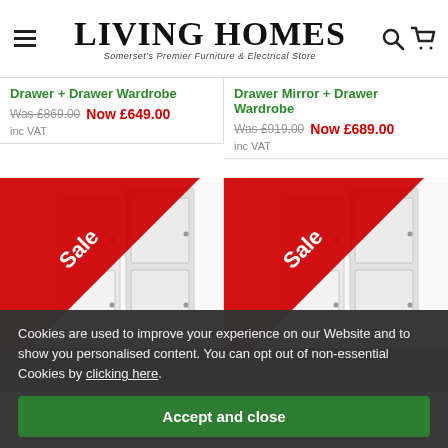LIVING HOMES — Somerset's Premier Furniture & Electrical Store
Drawer + Drawer Wardrobe
Was £869.00 Now £649.00
inc VAT
Drawer Mirror + Drawer Wardrobe
Was £919.00 Now £689.00
inc VAT
[Figure (photo): White wardrobe with Sale ribbon banner, left product]
[Figure (photo): White wardrobe with Sale ribbon banner, right product]
Cookies are used to improve your experience on our Website and to show you personalised content. You can opt out of non-essential Cookies by clicking here.
Accept and close
Was £909.00 Now £679.00
Was £829.00 Now £619.00